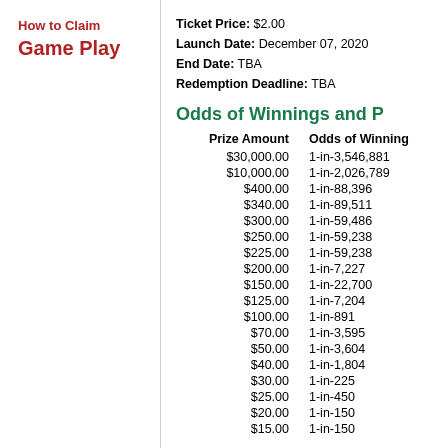How to Claim
Game Play
Ticket Price: $2.00
Launch Date: December 07, 2020
End Date: TBA
Redemption Deadline: TBA
Odds of Winnings and P
| Prize Amount | Odds of Winning |
| --- | --- |
| $30,000.00 | 1-in-3,546,881 |
| $10,000.00 | 1-in-2,026,789 |
| $400.00 | 1-in-88,396 |
| $340.00 | 1-in-89,511 |
| $300.00 | 1-in-59,486 |
| $250.00 | 1-in-59,238 |
| $225.00 | 1-in-59,238 |
| $200.00 | 1-in-7,227 |
| $150.00 | 1-in-22,700 |
| $125.00 | 1-in-7,204 |
| $100.00 | 1-in-891 |
| $70.00 | 1-in-3,595 |
| $50.00 | 1-in-3,604 |
| $40.00 | 1-in-1,804 |
| $30.00 | 1-in-225 |
| $25.00 | 1-in-450 |
| $20.00 | 1-in-150 |
| $15.00 | 1-in-150 |